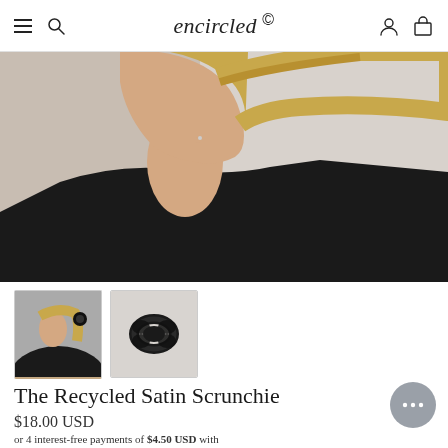encircled
[Figure (photo): Side profile of a blonde woman wearing a black turtleneck top, with a black scrunchie in her hair, against a light grey background]
[Figure (photo): Thumbnail: side view of woman with black scrunchie in ponytail, wearing black top]
[Figure (photo): Thumbnail: a black satin scrunchie laid flat on a white/grey surface]
The Recycled Satin Scrunchie
$18.00 USD
or 4 interest-free payments of $4.50 USD with